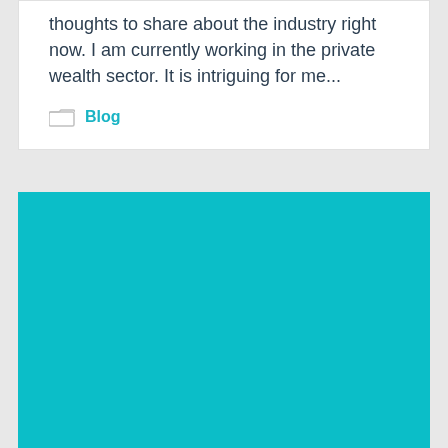thoughts to share about the industry right now. I am currently working in the private wealth sector. It is intriguing for me...
Blog
[Figure (other): Solid teal/cyan colored rectangular block filling the lower portion of the page]